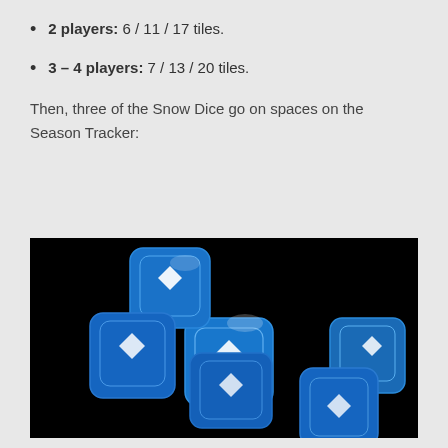2 players: 6 / 11 / 17 tiles.
3 – 4 players: 7 / 13 / 20 tiles.
Then, three of the Snow Dice go on spaces on the Season Tracker:
[Figure (photo): Five blue metallic dice with white hexagonal snowflake symbols on their faces, arranged in a group against a black background.]